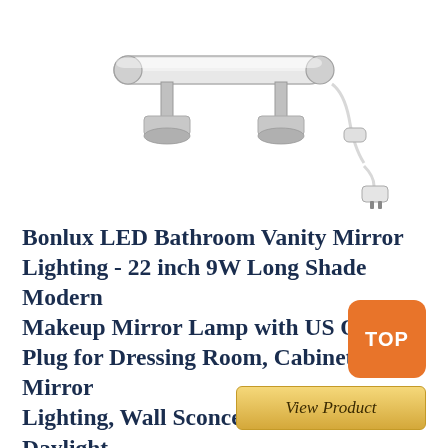[Figure (photo): Product photo of a chrome LED bathroom vanity mirror light bar with two mounting brackets and a white cord with plug and inline on/off switch]
Bonlux LED Bathroom Vanity Mirror Lighting - 22 inch 9W Long Shade Modern Makeup Mirror Lamp with US ON/Off Plug for Dressing Room, Cabinet Mirror Lighting, Wall Sconce Lighting, Daylight 6000K
TOP
View Product